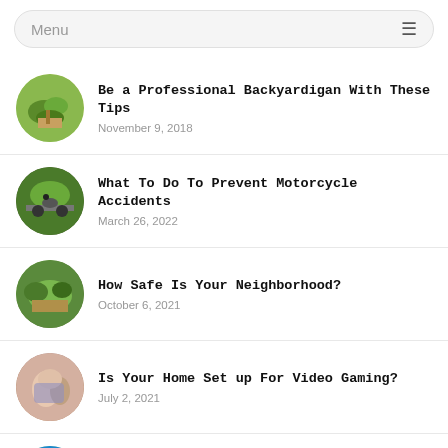Menu
Be a Professional Backyardigan With These Tips
November 9, 2018
What To Do To Prevent Motorcycle Accidents
March 26, 2022
How Safe Is Your Neighborhood?
October 6, 2021
Is Your Home Set up For Video Gaming?
July 2, 2021
Top 6 Strangest Casinos In The World
March 14, 2021